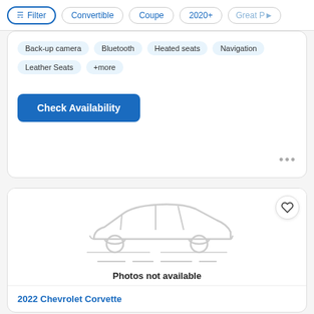Filter | Convertible | Coupe | 2020+ | Great P>
Back-up camera · Bluetooth · Heated seats · Navigation · Leather Seats · +more
Check Availability
[Figure (illustration): Car silhouette placeholder image indicating photos not available]
Photos not available
2022 Chevrolet Corvette